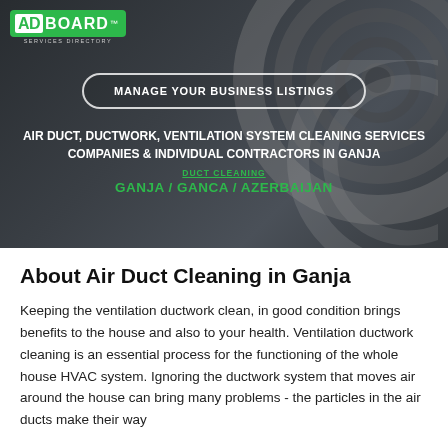[Figure (photo): Dark hero banner with circular ventilation duct background image, overlaid with AdBoard logo, a 'Manage Your Business Listings' button, and service category text]
About Air Duct Cleaning in Ganja
Keeping the ventilation ductwork clean, in good condition brings benefits to the house and also to your health. Ventilation ductwork cleaning is an essential process for the functioning of the whole house HVAC system. Ignoring the ductwork system that moves air around the house can bring many problems - the particles in the air ducts make their way